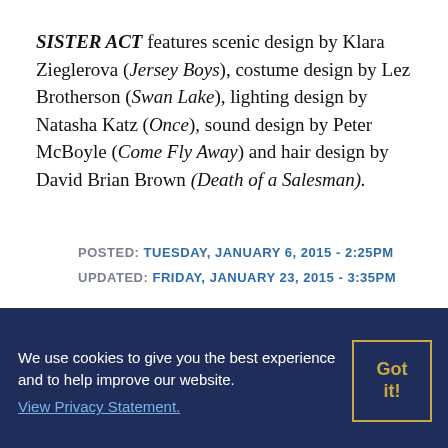SISTER ACT features scenic design by Klara Zieglerova (Jersey Boys), costume design by Lez Brotherson (Swan Lake), lighting design by Natasha Katz (Once), sound design by Peter McBoyle (Come Fly Away) and hair design by David Brian Brown (Death of a Salesman).
POSTED: TUESDAY, JANUARY 6, 2015 - 2:25PM
UPDATED: FRIDAY, JANUARY 23, 2015 - 3:35PM
We use cookies to give you the best experience and to help improve our website. View Privacy Statement.